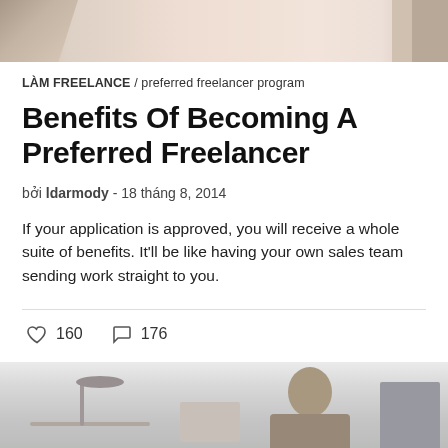[Figure (photo): Top banner image showing a workspace or interior scene with warm tones]
LÀM FREELANCE / preferred freelancer program
Benefits Of Becoming A Preferred Freelancer
bởi ldarmody - 18 tháng 8, 2014
If your application is approved, you will receive a whole suite of benefits. It'll be like having your own sales team sending work straight to you.
160  176
[Figure (photo): Bottom image showing a person in an office or workspace setting]